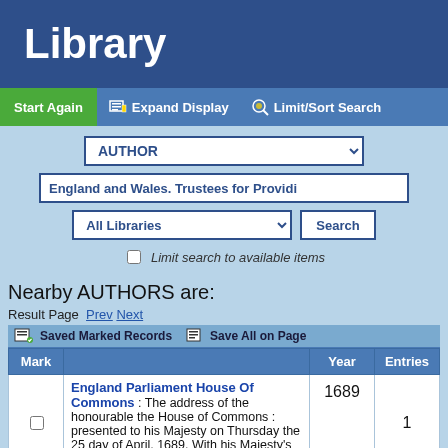Library
Start Again  Expand Display  Limit/Sort Search
[Figure (screenshot): Search form with AUTHOR dropdown, search input showing 'England and Wales. Trustees for Providi', All Libraries dropdown, Search button, and 'Limit search to available items' checkbox]
Nearby AUTHORS are:
Result Page   Prev  Next
Saved Marked Records   Save All on Page
| Mark |  | Year | Entries |
| --- | --- | --- | --- |
|  | England Parliament House Of Commons : The address of the honourable the House of Commons : presented to his Majesty on Thursday the 25 day of April, 1689. With his Majesty's answer thereunto. | 1689 | 1 |
|  | England Parliament House Of Lords ... 2 Related |  |  |